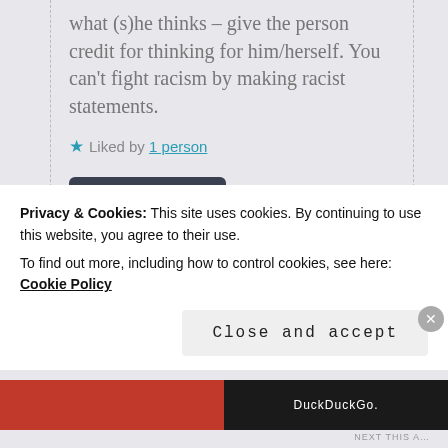what (s)he thinks – give the person credit for thinking for him/herself. You can't fight racism by making racist statements.
★ Liked by 1 person
REPLY ↓
Privacy & Cookies: This site uses cookies. By continuing to use this website, you agree to their use.
To find out more, including how to control cookies, see here: Cookie Policy
Close and accept
DuckDuckGo.